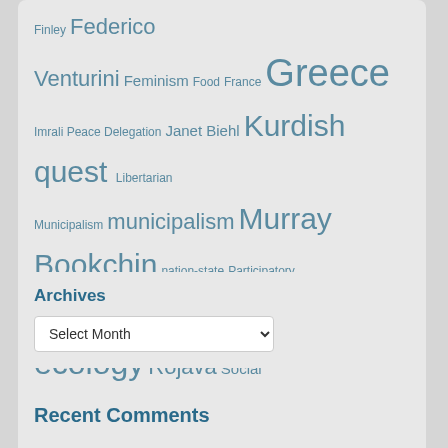Finley Federico Venturini Feminism Food France Greece Imrali Peace Delegation Janet Biehl Kurdish quest Libertarian Municipalism municipalism Murray Bookchin nation-state Participatory Democracy political ecology Rojava Social change Social Ecology Social Ecology and the Right to the City social movements The Right to the City Urban movements Yavor Tarinski Öcalan
Archives
Select Month
Recent Comments